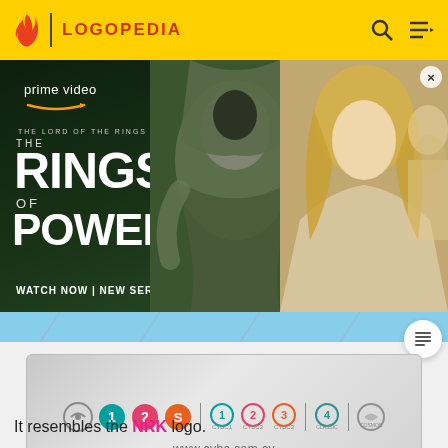LOGOPEDIA
[Figure (photo): Amazon Prime Video advertisement for 'The Lord of the Rings: The Rings of Power' series showing a dark hooded figure and a blonde woman, with text 'prime video', 'THE LORD OF THE RINGS', 'THE RINGS OF POWER', 'WATCH NOW | NEW SERIES']
[Figure (logo): CYBC (Cyprus Broadcasting Corporation) logo card showing multiple channel logos and the URL www.cybc.com.cy]
It resembles the NRK logo.